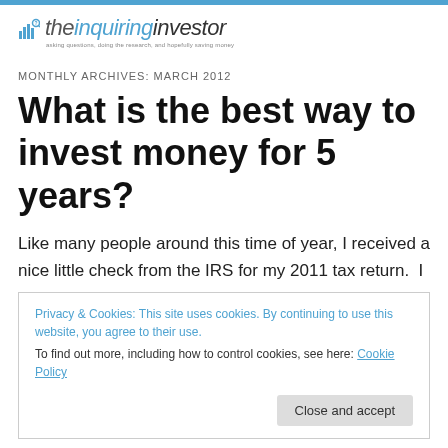the inquiring investor — asking questions, doing the research, and hopefully saving money
MONTHLY ARCHIVES: MARCH 2012
What is the best way to invest money for 5 years?
Like many people around this time of year, I received a nice little check from the IRS for my 2011 tax return.  I
Privacy & Cookies: This site uses cookies. By continuing to use this website, you agree to their use.
To find out more, including how to control cookies, see here: Cookie Policy
Close and accept
E...